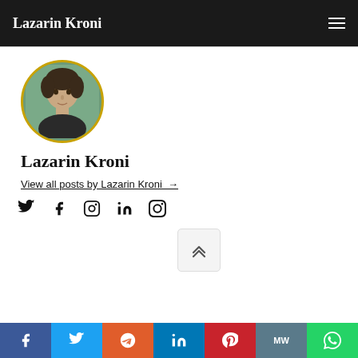Lazarin Kroni
[Figure (photo): Circular profile photo of Lazarin Kroni with gold border, showing a young man with brown hair against a teal background]
Lazarin Kroni
View all posts by Lazarin Kroni →
[Figure (infographic): Social media icons row: Twitter, Facebook, Instagram, LinkedIn, Pinterest]
[Figure (other): Scroll-to-top button with double chevron up arrow]
Share bar with Facebook, Twitter, Reddit, LinkedIn, Pinterest, MW, WhatsApp buttons